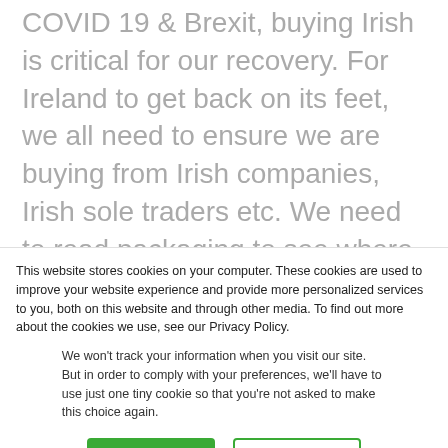COVID 19 & Brexit, buying Irish is critical for our recovery. For Ireland to get back on its feet, we all need to ensure we are buying from Irish companies, Irish sole traders etc. We need to read packaging to see where the products we are buying are coming from and having the Guaranteed Irish logo on products really helps
This website stores cookies on your computer. These cookies are used to improve your website experience and provide more personalized services to you, both on this website and through other media. To find out more about the cookies we use, see our Privacy Policy.
We won't track your information when you visit our site. But in order to comply with your preferences, we'll have to use just one tiny cookie so that you're not asked to make this choice again.